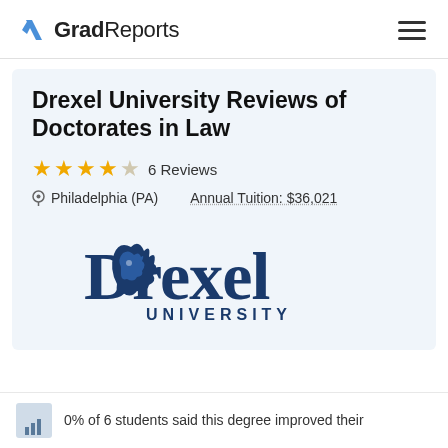GradReports
Drexel University Reviews of Doctorates in Law
★★★★☆ 6 Reviews
Philadelphia (PA)   Annual Tuition: $36,021
[Figure (logo): Drexel University logo with dragon mascot and wordmark]
0% of 6 students said this degree improved their